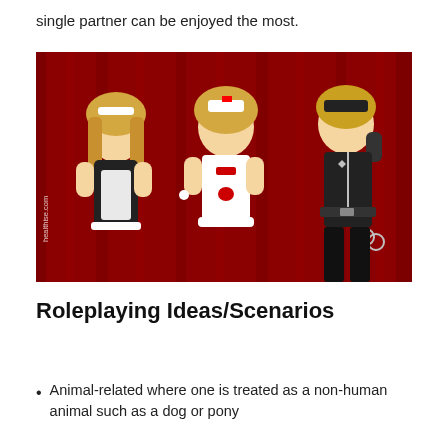single partner can be enjoyed the most.
[Figure (photo): Three women in costume outfits (maid, nurse, police officer) posing in front of a red curtain backdrop. Watermark reads healthise.com on the left side.]
Roleplaying Ideas/Scenarios
Animal-related where one is treated as a non-human animal such as a dog or pony